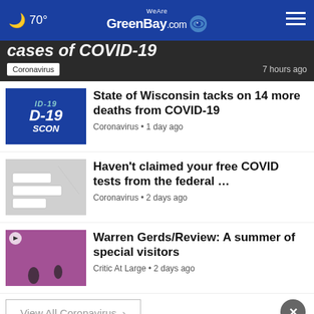🌙 70° WeAreGreenBay.com
[Figure (screenshot): Partially visible headline: cases of COVID-19, with Coronavirus tag and 7 hours ago timestamp]
State of Wisconsin tacks on 14 more deaths from COVID-19 — Coronavirus • 1 day ago
Haven't claimed your free COVID tests from the federal … — Coronavirus • 2 days ago
Warren Gerds/Review: A summer of special visitors — Critic At Large • 2 days ago
View All Coronavirus ›
[Figure (screenshot): BestReviews advertisement banner: 'For the best reviews, go to BESTREVIEWS' with Go Now button]
TRENDING STORIES